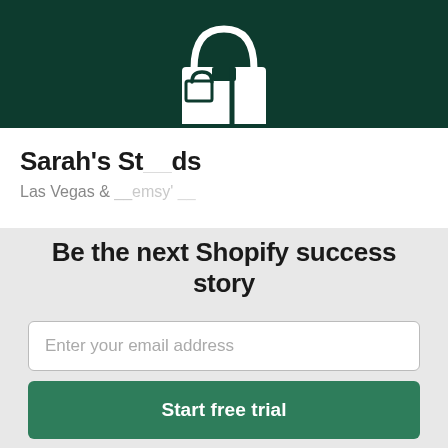[Figure (logo): Shopify shopping bag logo icon in white on dark green background banner]
Sarah's St__ds
Las Vegas & __emsy__
Be the next Shopify success story
Enter your email address
Start free trial